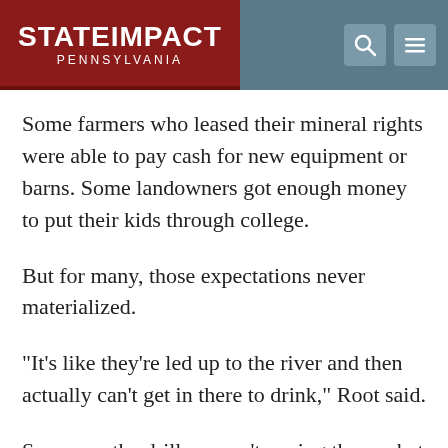StateImpact Pennsylvania
Some farmers who leased their mineral rights were able to pay cash for new equipment or barns. Some landowners got enough money to put their kids through college.
But for many, those expectations never materialized.
“It’s like they’re led up to the river and then actually can’t get in there to drink,” Root said.
Some say the drillers aren’t paying them what